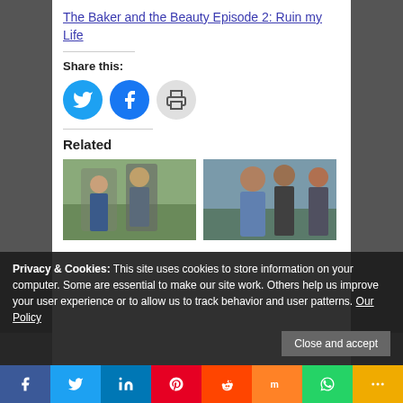The Baker and the Beauty Episode 2: Ruin my Life
Share this:
[Figure (other): Social share buttons: Twitter (blue bird), Facebook (blue f), Print (printer icon)]
Related
[Figure (photo): Two people standing outdoors near a fence, one wearing sunglasses]
[Figure (photo): Three people standing outdoors, one in a blue hoodie]
Privacy & Cookies: This site uses cookies to store information on your computer. Some are essential to make our site work. Others help us improve your user experience or to allow us to track behavior and user patterns. Our Policy
Close and accept
[Figure (other): Social sharing bar with icons: Facebook, Twitter, LinkedIn, Pinterest, Reddit, Mix, WhatsApp, More]